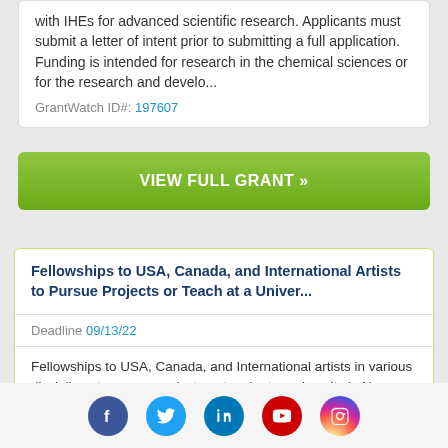with IHEs for advanced scientific research. Applicants must submit a letter of intent prior to submitting a full application. Funding is intended for research in the chemical sciences or for the research and develo...
GrantWatch ID#: 197607
VIEW FULL GRANT »
Fellowships to USA, Canada, and International Artists to Pursue Projects or Teach at a Univer...
Deadline 09/13/22
Fellowships to USA, Canada, and International artists in various disciplines to pursue projects or teach at a university in New Jersey. Funding is intended for applicants who show noteworthy potential in their artistic practice. Applications will be accepted from artis...
[Figure (infographic): Social media icons row: Facebook (blue circle), Twitter (light blue circle), LinkedIn (teal circle), YouTube (red circle), Instagram (gradient circle)]